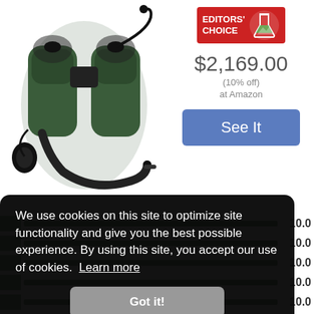[Figure (photo): Green binoculars with neck strap and cable attachment on white background]
[Figure (logo): Editors' Choice badge: red rectangle with white bold text EDITORS' CHOICE and a flask/beaker icon]
$2,169.00
(10% off)
at Amazon
See It
[Figure (infographic): Five rating rows each showing a green square indicator, a green-filled progress bar, and a score of 10.0]
We use cookies on this site to optimize site functionality and give you the best possible experience. By using this site, you accept our use of cookies.  Learn more
Got it!